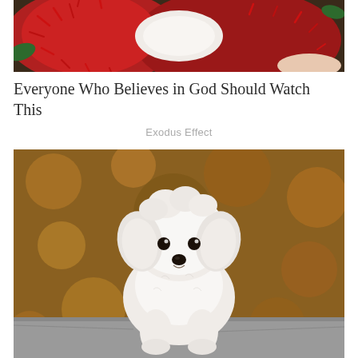[Figure (photo): Close-up photo of rambutan fruit, showing the red spiky exterior and white flesh interior, held in a hand]
Everyone Who Believes in God Should Watch This
Exodus Effect
[Figure (photo): A small fluffy white Maltese puppy sitting on a stone surface with a blurred autumn bokeh background]